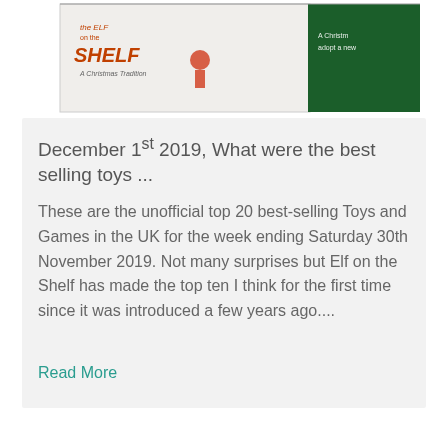[Figure (photo): Photo of Elf on the Shelf box - a white and green rectangular box. The white face shows 'the ELF on the SHELF - A Christmas Tradition' text with an elf illustration. The right side has a dark green panel.]
December 1st 2019, What were the best selling toys ...
These are the unofficial top 20 best-selling Toys and Games in the UK for the week ending Saturday 30th November 2019. Not many surprises but Elf on the Shelf has made the top ten I think for the first time since it was introduced a few years ago....
Read More